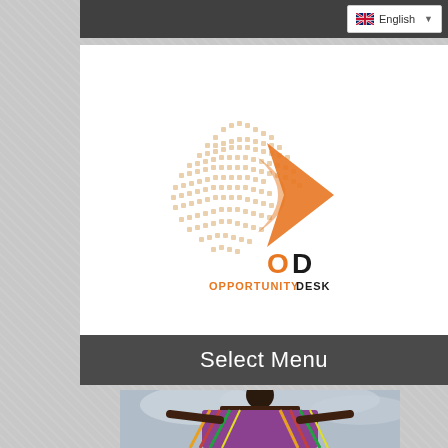English
[Figure (logo): OpportunityDesk logo: dotted globe with orange arrow/chevron shape on right, text 'OD' with O in orange and D in black, subtitle 'OPPORTUNITY' in orange and 'DESK' in black]
Select Menu
[Figure (photo): Photo of a woman wearing colorful traditional fabric/shawl with arms spread, cloudy sky in background]